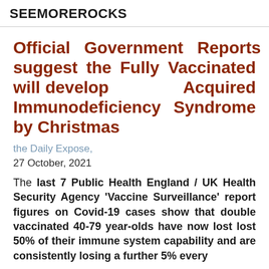SEEMOREROCKS
Official Government Reports suggest the Fully Vaccinated will develop Acquired Immunodeficiency Syndrome by Christmas
the Daily Expose,
27 October, 2021
The last 7 Public Health England / UK Health Security Agency 'Vaccine Surveillance' report figures on Covid-19 cases show that double vaccinated 40-79 year-olds have now lost lost 50% of their immune system capability and are consistently losing a further 5% every